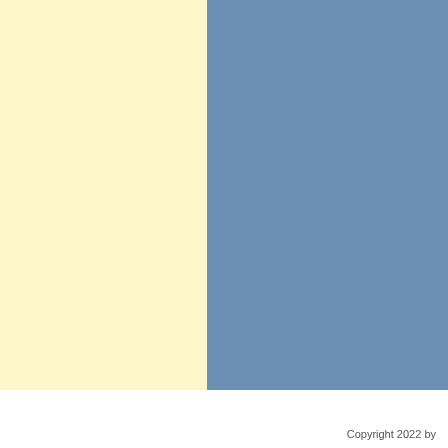[Figure (illustration): Two-panel background: left panel is a light cream/yellow color, right panel is a muted steel blue color. Both panels occupy the upper ~87% of the page.]
Copyright 2022 by